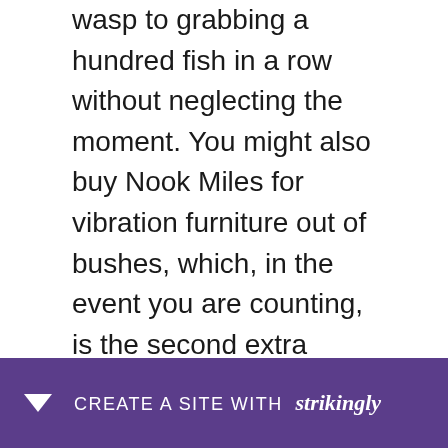wasp to grabbing a hundred fish in a row without neglecting the moment. You might also buy Nook Miles for vibration furniture out of bushes, which, in the event you are counting, is the second extra reward you are able to get from doing that. At the meantime, it's all too easy to swallow yourself at personalization and selfexpression. This starts off with your own character. You are able to in fact choose your appearance for your first time in the chain, for example the skin color, and none of the alternatives are all locked into sex. The truth is that villagers will only neut d
CREATE A SITE WITH strikingly